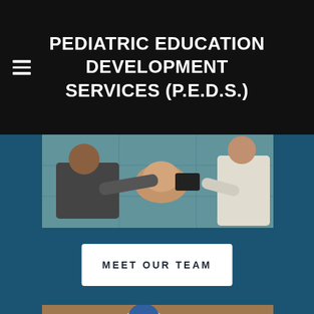PEDIATRIC EDUCATION DEVELOPMENT SERVICES (P.E.D.S.)
[Figure (photo): CPR training session showing people performing CPR on mannequins on a blue mat]
MEET OUR TEAM
[Figure (photo): Close-up of hands performing CPR compressions on a mannequin with bag-mask ventilation device visible]